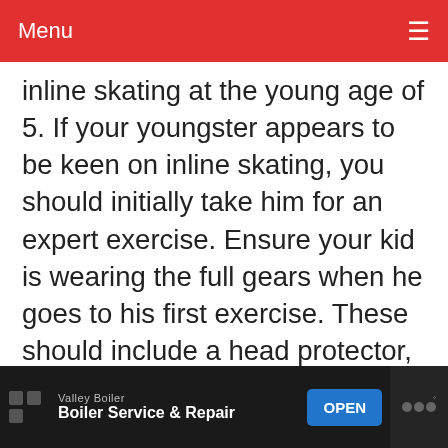Menu
Inline skating at the young age of 5. If your youngster appears to be keen on inline skating, you should initially take him for an expert exercise. Ensure your kid is wearing the full gears when he goes to his first exercise. These should include a head protector, elbow cushions, knee cushions, and wrist monitors. His skates ought to have brakes as well.
ADVERTISEMENT
Valley Boiler Boiler Service & Repair OPEN